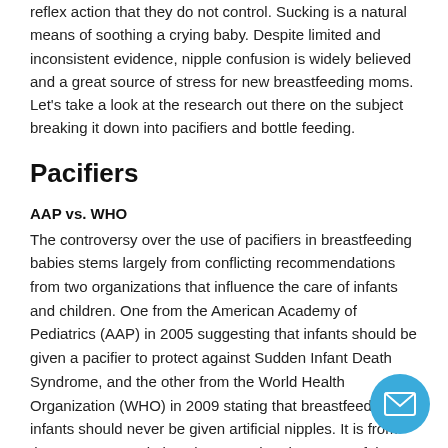reflex action that they do not control. Sucking is a natural means of soothing a crying baby. Despite limited and inconsistent evidence, nipple confusion is widely believed and a great source of stress for new breastfeeding moms. Let's take a look at the research out there on the subject breaking it down into pacifiers and bottle feeding.
Pacifiers
AAP vs. WHO
The controversy over the use of pacifiers in breastfeeding babies stems largely from conflicting recommendations from two organizations that influence the care of infants and children. One from the American Academy of Pediatrics (AAP) in 2005 suggesting that infants should be given a pacifier to protect against Sudden Infant Death Syndrome, and the other from the World Health Organization (WHO) in 2009 stating that breastfeeding infants should never be given artificial nipples. It is from these recommendations by WHO that the tenets of the Baby Friendly Hospitals were created, one of